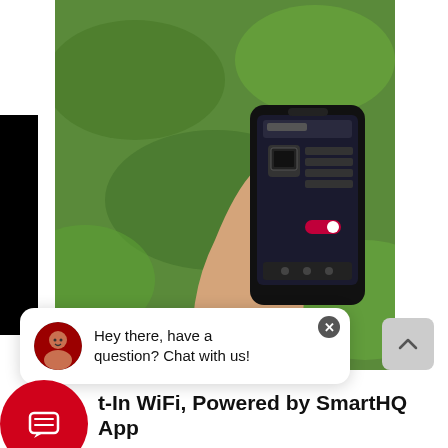[Figure (photo): A hand holding a smartphone displaying the SmartHQ app interface, with green plants in the background.]
Hey there, have a question? Chat with us!
t-In WiFi, Powered by SmartHQ App
ge all aspects of your kitchen with the help e SmartHQ™ App or your voice assistant Select features require WiFi Connection) See